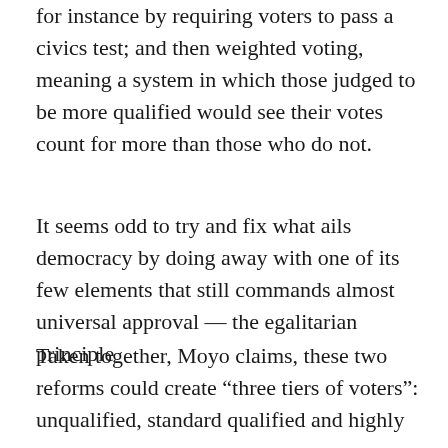for instance by requiring voters to pass a civics test; and then weighted voting, meaning a system in which those judged to be more qualified would see their votes count for more than those who do not.
It seems odd to try and fix what ails democracy by doing away with one of its few elements that still commands almost universal approval — the egalitarian principle
Taken together, Moyo claims, these two reforms could create “three tiers of voters”: unqualified, standard qualified and highly